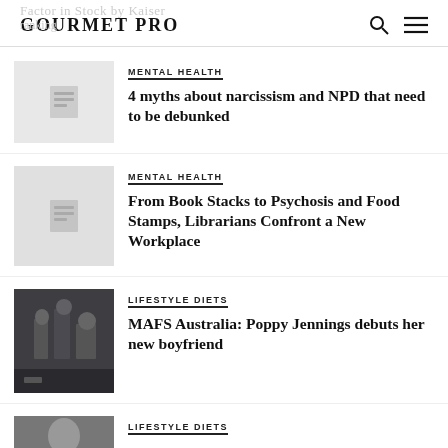GOURMET PRO
MENTAL HEALTH
4 myths about narcissism and NPD that need to be debunked
MENTAL HEALTH
From Book Stacks to Psychosis and Food Stamps, Librarians Confront a New Workplace
LIFESTYLE DIETS
MAFS Australia: Poppy Jennings debuts her new boyfriend
LIFESTYLE DIETS